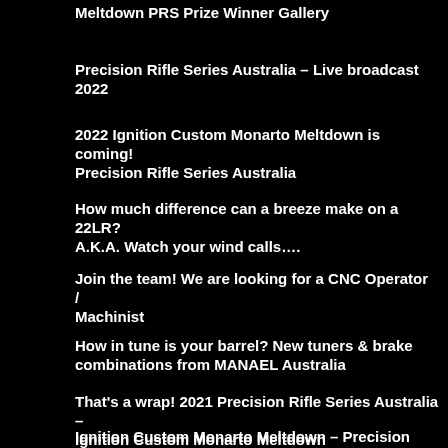Meltdown PRS Prize Winner Gallery
Precision Rifle Series Australia – Live broadcast 2022
2022 Ignition Custom Monarto Meltdown is coming! Precision Rifle Series Australia
How much difference can a breeze make on a 22LR? A.K.A. Watch your wind calls….
Join the team! We are looking for a CNC Operator / Machinist
How in tune is your barrel? New tuners & brake combinations from MANAEL Australia
That's a wrap! 2021 Precision Rifle Series Australia – Ignition Custom Monarto Meltdown
Ignition Custom Monarto Meltdown – Precision Rifle